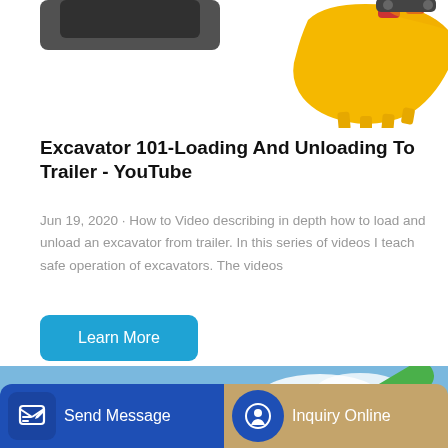[Figure (photo): Yellow excavator bucket attachment shown from an angle on white background, partially cropped at top]
Excavator 101-Loading And Unloading To Trailer - YouTube
Jun 19, 2020 · How to Video describing in depth how to load and unload an excavator from trailer. In this series of videos I teach safe operation of excavators. The videos
[Figure (other): Learn More button — teal/blue rounded rectangle]
[Figure (photo): Green ZOOML excavator boom arm against blue sky with clouds, photographed from low angle]
[Figure (other): Bottom action bar with Send Message button (blue) and Inquiry Online button (tan/gold)]